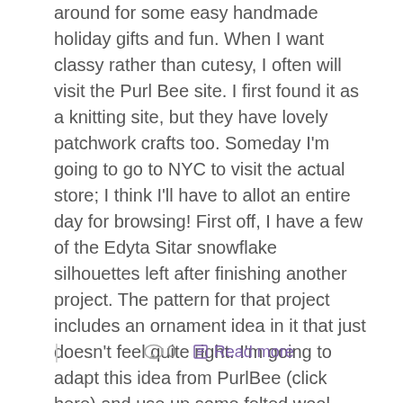around for some easy handmade holiday gifts and fun. When I want classy rather than cutesy, I often will visit the Purl Bee site. I first found it as a knitting site, but they have lovely patchwork crafts too. Someday I'm going to go to NYC to visit the actual store; I think I'll have to allot an entire day for browsing! First off, I have a few of the Edyta Sitar snowflake silhouettes left after finishing another project. The pattern for that project includes an ornament idea in it that just doesn't feel quite right. I'm going to adapt this idea from PurlBee (click here) and use up some felted wool scraps.  I'm think two layers of wool plus the fused silhouette, [...]
0   Read more